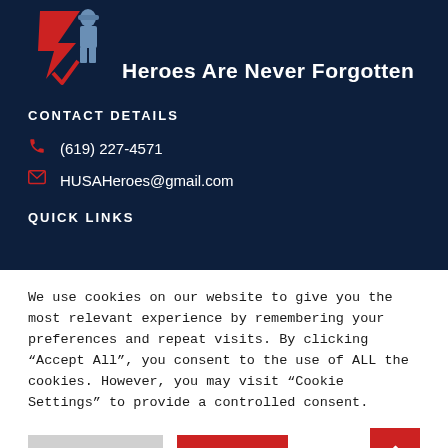[Figure (logo): HUSA Heroes logo with red lightning bolt arrow and blue soldier silhouette icon]
Heroes Are Never Forgotten
CONTACT DETAILS
(619) 227-4571
HUSAHeroes@gmail.com
QUICK LINKS
We use cookies on our website to give you the most relevant experience by remembering your preferences and repeat visits. By clicking “Accept All”, you consent to the use of ALL the cookies. However, you may visit “Cookie Settings” to provide a controlled consent.
Cookie Settings | Accept All